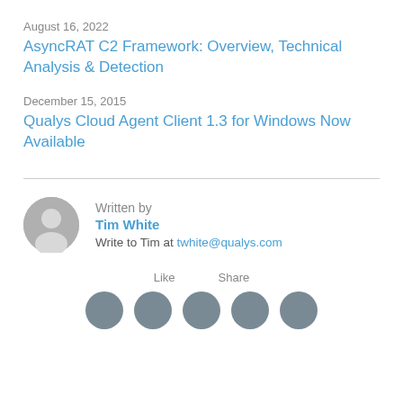August 16, 2022
AsyncRAT C2 Framework: Overview, Technical Analysis & Detection
December 15, 2015
Qualys Cloud Agent Client 1.3 for Windows Now Available
Written by
Tim White
Write to Tim at twhite@qualys.com